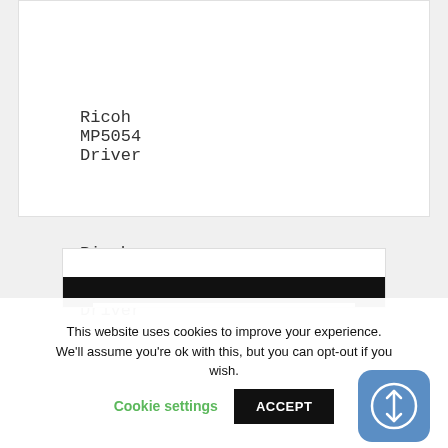Ricoh MP5054 Driver
Ricoh MP 2554 Driver
[Figure (screenshot): Website sidebar widget area with dark header and search bar]
This website uses cookies to improve your experience. We'll assume you're ok with this, but you can opt-out if you wish. Cookie settings ACCEPT